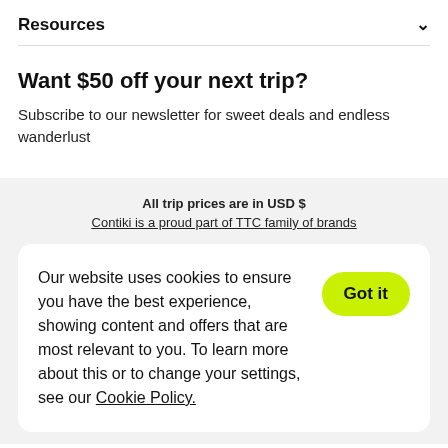Resources
Want $50 off your next trip?
Subscribe to our newsletter for sweet deals and endless wanderlust
All trip prices are in USD $
Contiki is a proud part of TTC family of brands
Our website uses cookies to ensure you have the best experience, showing content and offers that are most relevant to you. To learn more about this or to change your settings, see our Cookie Policy.